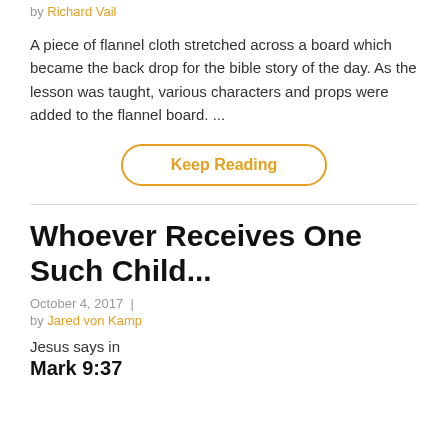by Richard Vail
A piece of flannel cloth stretched across a board which became the back drop for the bible story of the day. As the lesson was taught, various characters and props were added to the flannel board. ...
Keep Reading
Whoever Receives One Such Child...
October 4, 2017 | by Jared von Kamp
Jesus says in
Mark 9:37